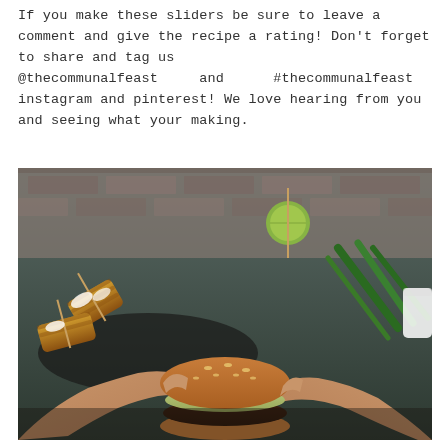If you make these sliders be sure to leave a comment and give the recipe a rating! Don't forget to share and tag us @thecommunalfeast and #thecommunalfeast on instagram and pinterest! We love hearing from you and seeing what your making.
[Figure (photo): A person holding a burger/slider with toppings including green sauce and jalapeños. In the background are grilled corn on skewers with a lime wedge, green chilies, and a brick wall.]